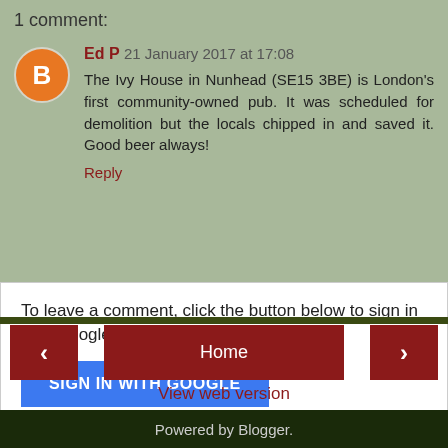1 comment:
Ed P 21 January 2017 at 17:08
The Ivy House in Nunhead (SE15 3BE) is London's first community-owned pub. It was scheduled for demolition but the locals chipped in and saved it. Good beer always!
Reply
To leave a comment, click the button below to sign in with Google.
SIGN IN WITH GOOGLE
Home
View web version
Powered by Blogger.